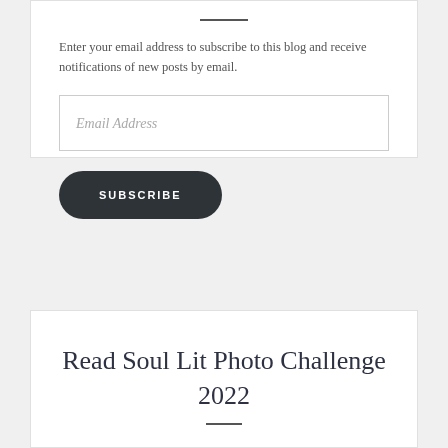Enter your email address to subscribe to this blog and receive notifications of new posts by email.
Email Address
SUBSCRIBE
Read Soul Lit Photo Challenge 2022